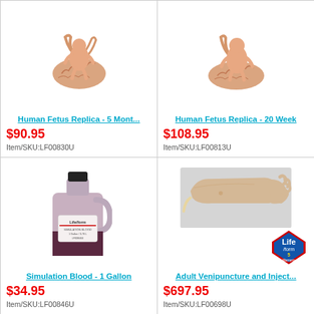[Figure (photo): Human fetus replica model at 5 months, showing fetus with umbilical cord and placenta]
Human Fetus Replica - 5 Mont...
$90.95
Item/SKU:LF00830U
[Figure (photo): Human fetus replica model at 20 weeks, showing fetus with umbilical cord and placenta]
Human Fetus Replica - 20 Week
$108.95
Item/SKU:LF00813U
[Figure (photo): Simulation Blood - 1 gallon jug with Life/form label]
Simulation Blood - 1 Gallon
$34.95
Item/SKU:LF00846U
[Figure (photo): Adult venipuncture and injection training arm with Life/form 5 year warranty badge]
Adult Venipuncture and Inject...
$697.95
Item/SKU:LF00698U